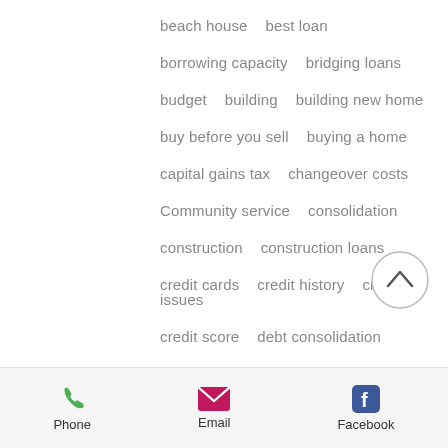beach house   best loan
borrowing capacity   bridging loans
budget   building   building new home
buy before you sell   buying a home
capital gains tax   changeover costs
Community service   consolidation
construction   construction loans
credit cards   credit history   credit issues
credit score   debt consolidation
Debt to income ratio   deposit   divorce
dream home   DTI   education resources
equity   equity loans   expert
Phone   Email   Facebook